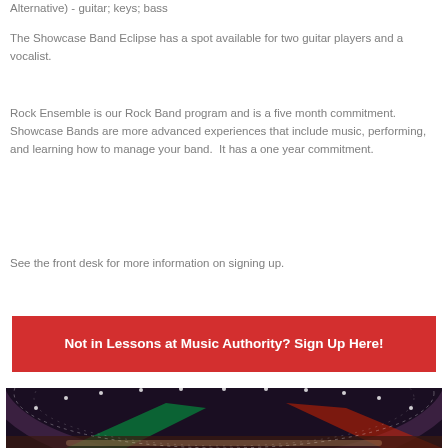Alternative) - guitar; keys; bass
The Showcase Band Eclipse has a spot available for two guitar players and a vocalist.
Rock Ensemble is our Rock Band program and is a five month commitment.  Showcase Bands are more advanced experiences that include music, performing, and learning how to manage your band.  It has a one year commitment.
See the front desk for more information on signing up.
Not in Lessons at Music Authority? Sign Up Here!
[Figure (photo): Stage with colorful lights including red and green lighting effects creating an arc pattern overhead]